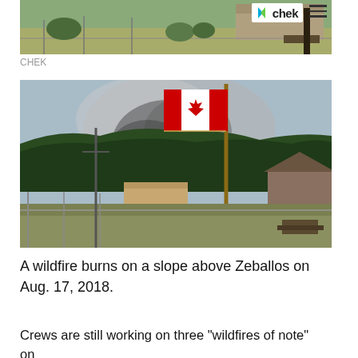[Figure (photo): Partial view of a wildfire scene near Zeballos, with buildings and trees visible. CHEK logo and hamburger menu visible in top right corner.]
CHEK
[Figure (photo): A Canadian flag on a flagpole with wildfire smoke rising from a forested hillside behind it. Buildings and a chain-link fence are visible in the foreground.]
A wildfire burns on a slope above Zeballos on Aug. 17, 2018.
Crews are still working on three “wildfires of note” on